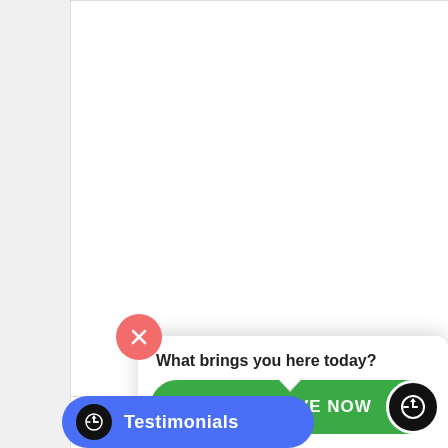POTASSIUM COMPOUND
$23.85
Add to cart
Show Details
What brings you here today?
CHAT LIVE NOW
Testimonials